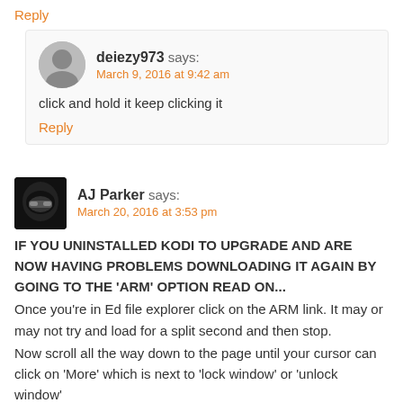Reply
deiezy973 says:
March 9, 2016 at 9:42 am
click and hold it keep clicking it
Reply
AJ Parker says:
March 20, 2016 at 3:53 pm
IF YOU UNINSTALLED KODI TO UPGRADE AND ARE NOW HAVING PROBLEMS DOWNLOADING IT AGAIN BY GOING TO THE 'ARM' OPTION READ ON...
Once you're in Ed file explorer click on the ARM link. It may or may not try and load for a split second and then stop.
Now scroll all the way down to the page until your cursor can click on 'More' which is next to 'lock window' or 'unlock window'
Click on 'more' and then click 'open in browser'. If this doesn't work first time go back up and click 'ARM' again and then come